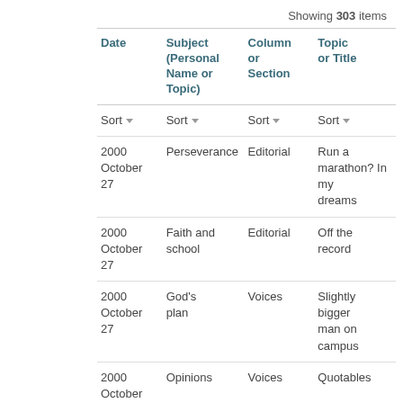Showing 303 items
| Date | Subject (Personal Name or Topic) | Column or Section | Topic or Title |
| --- | --- | --- | --- |
| Sort | Sort | Sort | Sort |
| 2000 October 27 | Perseverance | Editorial | Run a marathon? In my dreams |
| 2000 October 27 | Faith and school | Editorial | Off the record |
| 2000 October 27 | God's plan | Voices | Slightly bigger man on campus |
| 2000 October 27 | Opinions | Voices | Quotables |